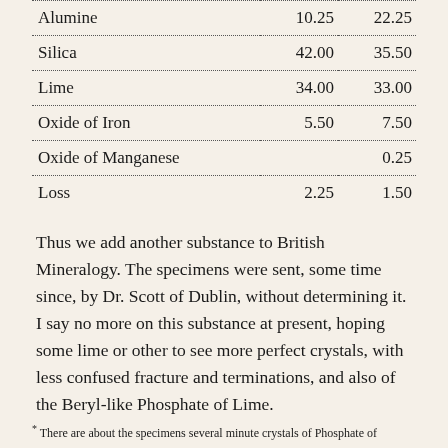|  |  |  |
| --- | --- | --- |
| Alumine | 10.25 | 22.25 |
| Silica | 42.00 | 35.50 |
| Lime | 34.00 | 33.00 |
| Oxide of Iron | 5.50 | 7.50 |
| Oxide of Manganese |  | 0.25 |
| Loss | 2.25 | 1.50 |
Thus we add another substance to British Mineralogy. The specimens were sent, some time since, by Dr. Scott of Dublin, without determining it. I say no more on this substance at present, hoping some lime or other to see more perfect crystals, with less confused fracture and terminations, and also of the Beryl-like Phosphate of Lime.
* There are about the specimens several minute crystals of Phosphate of